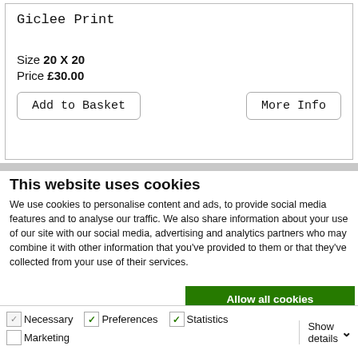Giclee Print
Size 20 X 20
Price £30.00
Add to Basket
More Info
This website uses cookies
We use cookies to personalise content and ads, to provide social media features and to analyse our traffic. We also share information about your use of our site with our social media, advertising and analytics partners who may combine it with other information that you've provided to them or that they've collected from your use of their services.
Allow all cookies
Allow selection
Use necessary cookies only
Necessary  Preferences  Statistics  Marketing  Show details